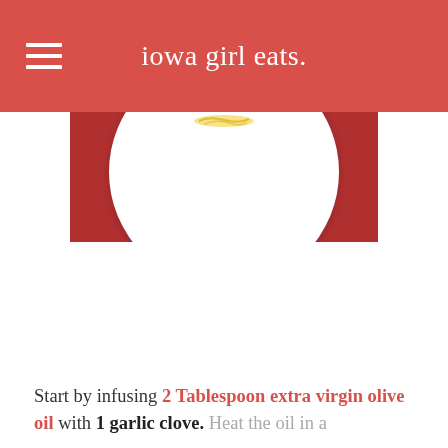iowa girl eats.
[Figure (photo): Partial view of a white plate with food on a dark red background, seen from above. The top portion of the plate is visible showing some noodles or garnish.]
Start by infusing 2 Tablespoon extra virgin olive oil with 1 garlic clove. Heat the oil in a